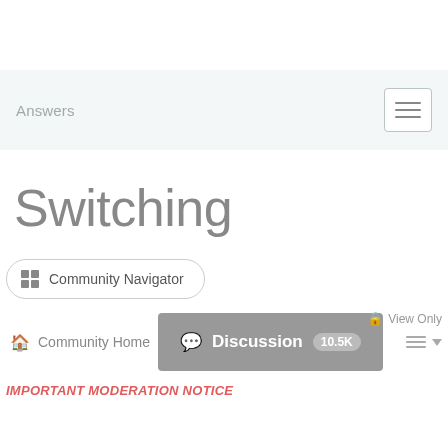Answers
Switching
Community Navigator
View Only
Community Home
Discussion 10.5K
IMPORTANT MODERATION NOTICE